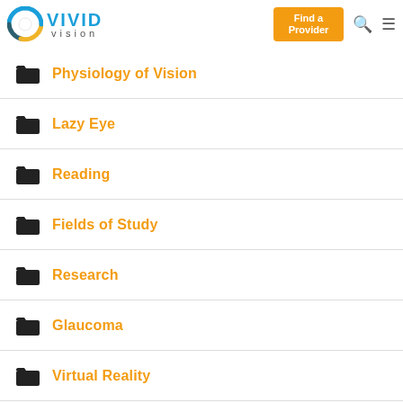Vivid Vision – Find a Provider
Physiology of Vision
Lazy Eye
Reading
Fields of Study
Research
Glaucoma
Virtual Reality
Organizations